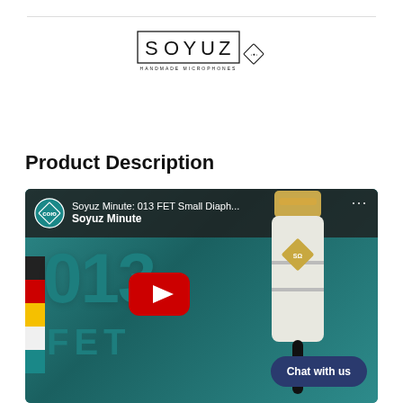[Figure (logo): Soyuz Handmade Microphones logo — outlined box with S O Y U Z lettering and a diamond badge, subtitle HANDMADE MICROPHONES]
Product Description
[Figure (screenshot): YouTube video thumbnail for 'Soyuz Minute: 013 FET Small Diaphragm...' showing large teal '013' and 'FET' text, Soyuz channel branding, YouTube play button, a microphone photo on the right, color strips on the left, and a 'Chat with us' button in the lower right]